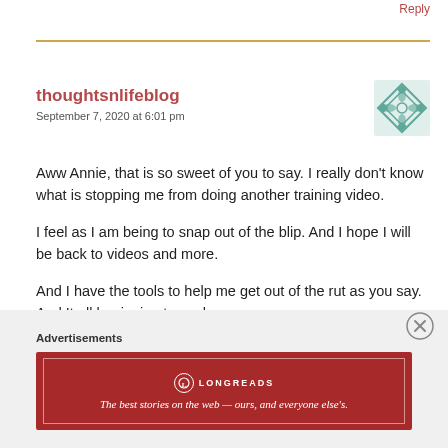Reply
thoughtsnlifeblog
September 7, 2020 at 6:01 pm
[Figure (illustration): Teal geometric diamond/flower avatar icon]
Aww Annie, that is so sweet of you to say. I really don't know what is stopping me from doing another training video.
I feel as I am being to snap out of the blip. And I hope I will be back to videos and more.
And I have the tools to help me get out of the rut as you say. And It all beginning to work.
Advertisements
[Figure (screenshot): Longreads advertisement banner — red background with logo and tagline: The best stories on the web — ours, and everyone else's.]